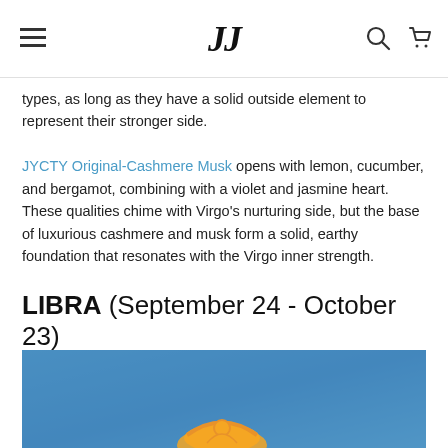JJ [logo with hamburger menu, search, and cart icons]
types, as long as they have a solid outside element to represent their stronger side.
JYCTY Original-Cashmere Musk opens with lemon, cucumber, and bergamot, combining with a violet and jasmine heart. These qualities chime with Virgo's nurturing side, but the base of luxurious cashmere and musk form a solid, earthy foundation that resonates with the Virgo inner strength.
LIBRA (September 24 - October 23)
[Figure (illustration): Zodiac Libra illustration with golden scales symbol on a blue background]